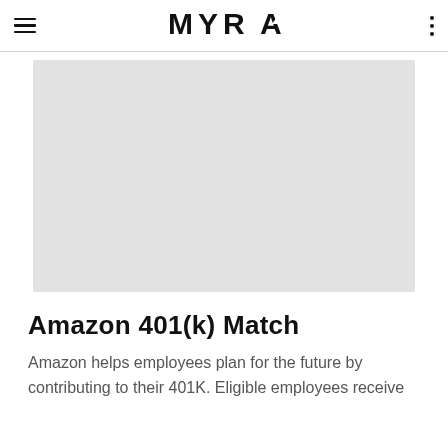MYRA
[Figure (photo): Large image placeholder area with light grey background, likely showing an image related to Amazon 401(k) Match article]
Amazon 401(k) Match
Amazon helps employees plan for the future by contributing to their 401K. Eligible employees receive